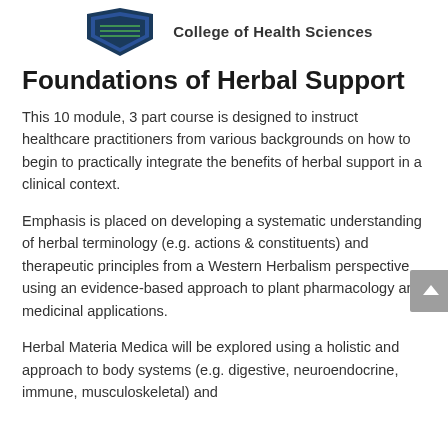[Figure (logo): College of Health Sciences shield logo with blue and green colors, partially visible at top]
Foundations of Herbal Support
This 10 module, 3 part course is designed to instruct healthcare practitioners from various backgrounds on how to begin to practically integrate the benefits of herbal support in a clinical context.
Emphasis is placed on developing a systematic understanding of herbal terminology (e.g. actions & constituents) and therapeutic principles from a Western Herbalism perspective using an evidence-based approach to plant pharmacology and medicinal applications.
Herbal Materia Medica will be explored using a holistic and approach to body systems (e.g. digestive, neuroendocrine, immune, musculoskeletal) and